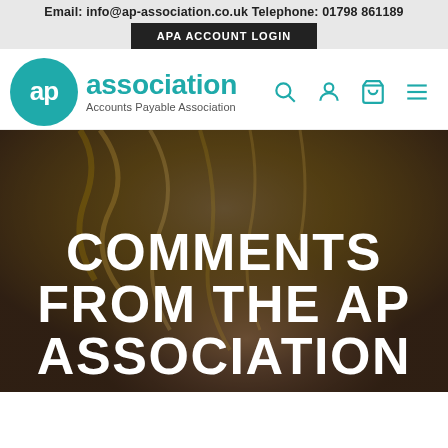Email: info@ap-association.co.uk Telephone: 01798 861189
APA ACCOUNT LOGIN
[Figure (logo): AP Association — Accounts Payable Association logo: teal circle with white 'ap' letters, followed by 'association' text in teal and 'Accounts Payable Association' subtitle]
[Figure (photo): Hero image showing a person with short blonde hair, partially visible face. Large white bold uppercase text overlaid reads: COMMENTS FROM THE AP ASSOCIATION]
COMMENTS FROM THE AP ASSOCIATION